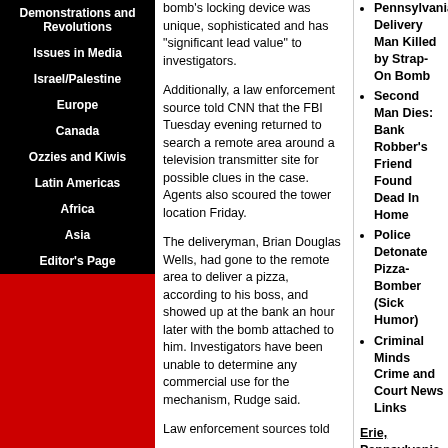Demonstrations and Revolutions
Issues in Media
Israel/Palestine
Europe
Canada
Ozzies and Kiwis
Latin Americas
Africa
Asia
Editor's Page
bomb's locking device was unique, sophisticated and has "significant lead value" to investigators.

Additionally, a law enforcement source told CNN that the FBI Tuesday evening returned to search a remote area around a television transmitter site for possible clues in the case. Agents also scoured the tower location Friday.

The deliveryman, Brian Douglas Wells, had gone to the remote area to deliver a pizza, according to his boss, and showed up at the bank an hour later with the bomb attached to him. Investigators have been unable to determine any commercial use for the mechanism, Rudge said.

Law enforcement sources told
Pennsylvania Delivery Man Killed by Strap-On Bomb
Second Man Dies: Bank Robber's Friend Found Dead In Home
Police Detonate Pizza-Bomber (Sick Humor)
Criminal Minds Crime and Court News Links
Erie, Pennsylvania, Murder-Bombing Mystery: Information Sought
On August 28, On August 28, pizza